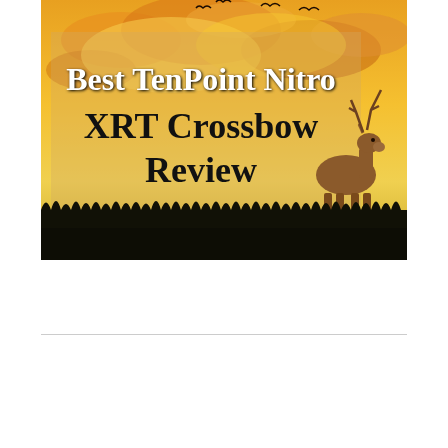[Figure (illustration): Illustrated hunting-themed title card showing a sunset sky with orange and yellow clouds, silhouettes of birds in flight, a deer silhouette with antlers on the right side, dark grass/ground silhouette at the bottom, and bold white/dark text overlaid reading 'Best TenPoint Nitro XRT Crossbow Review'.]